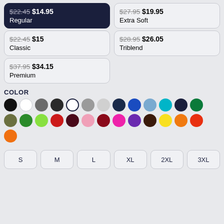$22.45 $14.95 Regular (selected)
$27.95 $19.95 Extra Soft
$22.45 $15 Classic
$28.95 $26.05 Triblend
$37.95 $34.15 Premium
COLOR
[Figure (other): Color swatches grid: black, white, dark gray, dark charcoal, selected white/outlined, gray, light gray, navy, royal blue, light blue, teal, dark navy, green, olive, green, lime, red, maroon, pink, dark red, hot pink, purple, dark brown, yellow, orange, orange-red, orange]
[Figure (other): Size buttons: S, M, L, XL, 2XL, 3XL]